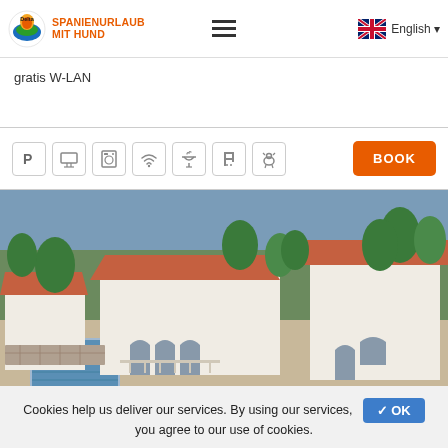SPANIENURLAUB MIT HUND
gratis W-LAN
[Figure (screenshot): Amenity icons row: parking (P), TV, dishwasher, wifi, BBQ, pool ladder, pets allowed]
[Figure (photo): Aerial photo of a Spanish holiday villa with a private pool, red-tiled roofs, white walls, surrounded by trees and other villas]
Cookies help us deliver our services. By using our services, you agree to our use of cookies.